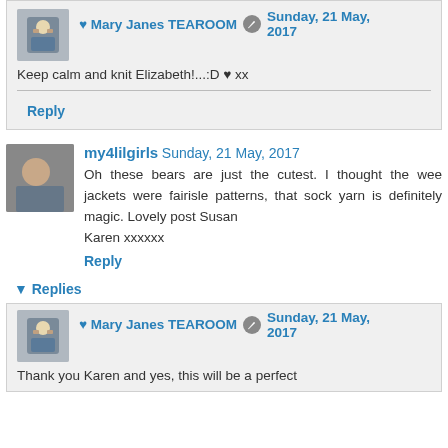♥ Mary Janes TEAROOM [pencil icon] Sunday, 21 May, 2017
Keep calm and knit Elizabeth!...:D ♥ xx
Reply
my4lilgirls Sunday, 21 May, 2017
Oh these bears are just the cutest. I thought the wee jackets were fairisle patterns, that sock yarn is definitely magic. Lovely post Susan
Karen xxxxxx
Reply
▼ Replies
♥ Mary Janes TEAROOM [pencil icon] Sunday, 21 May, 2017
Thank you Karen and yes, this will be a perfect